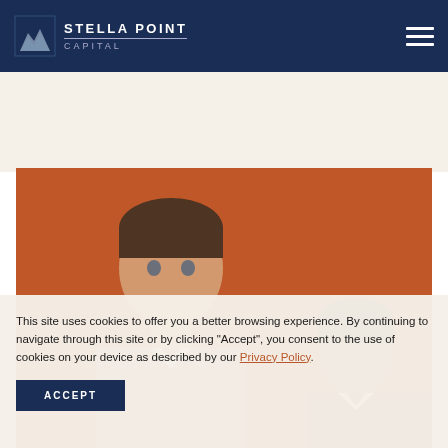Stella Point Capital
[Figure (photo): Two men in business attire, one facing forward with short dark hair, against an orange/brown background]
This site uses cookies to offer you a better browsing experience. By continuing to navigate through this site or by clicking "Accept", you consent to the use of cookies on your device as described by our Privacy Policy.
ACCEPT